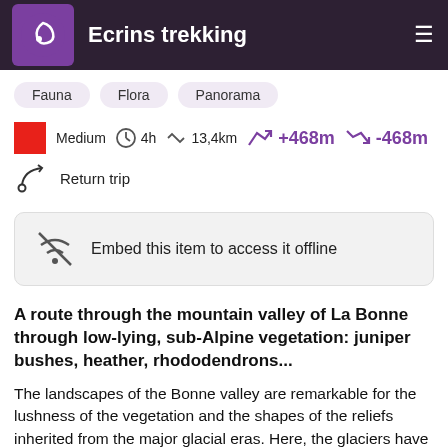Ecrins trekking
Fauna
Flora
Panorama
Medium  4h  13,4km  +468m  -468m  Return trip
Embed this item to access it offline
A route through the mountain valley of La Bonne through low-lying, sub-Alpine vegetation: juniper bushes, heather, rhododendrons...
The landscapes of the Bonne valley are remarkable for the lushness of the vegetation and the shapes of the reliefs inherited from the major glacial eras. Here, the glaciers have worked like powerful rebate planes, digging out and shaping the most vulnerable rocks. The mountain cliffs, glacial barriers and waterfalls bear witness to the natural